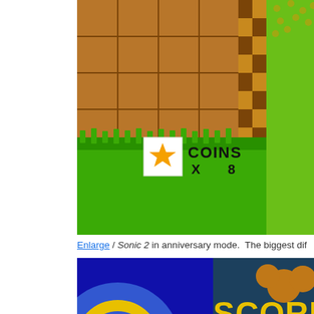[Figure (screenshot): Screenshot of Sonic 2 game in anniversary mode showing COINS x 8 display with green level background and brown brick tiles]
Enlarge / Sonic 2 in anniversary mode. The biggest dif
[Figure (screenshot): Screenshot of Sonic 2 game showing SCORE: 0 on blue background with rings and items]
We use cookies on our website to give you the most relevant experience by remembering your preferences and repeat visits. By clicking “Accept All”, you consent to the use of ALL the cookies. However, you may visit “Cookie Settings” to provide a controlled consent.
Cookie Settings
Accept All